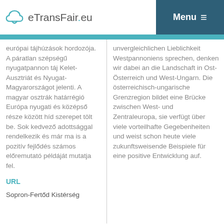eTransFair.eu  Menu
európai tájhúzások hordozója. A páratlan szépségű nyugatpannon táj Kelet-Ausztriát és Nyugat-Magyarországot jelenti. A magyar osztrák határrégió Európa nyugati és középső része között híd szerepet tölt be. Sok kedvező adottsággal rendelkezik és már ma is a pozitív fejlődés számos előremutató példáját mutatja fel.
URL
Sopron-Fertőd Kistérség
unvergleichlichen Lieblichkeit Westpannoniens sprechen, denken wir dabei an die Landschaft in Ost-Österreich und West-Ungarn. Die österreichisch-ungarische Grenzregion bildet eine Brücke zwischen West- und Zentraleuropa, sie verfügt über viele vorteilhafte Gegebenheiten und weist schon heute viele zukunftsweisende Beispiele für eine positive Entwicklung auf.